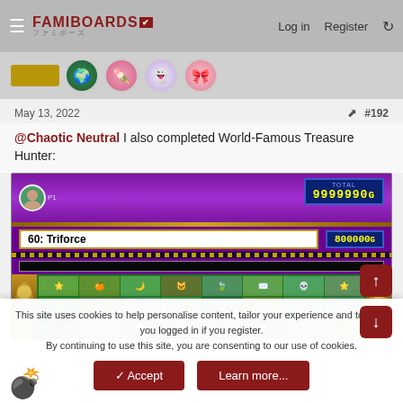FAMIBOARDS — Log in   Register
[Figure (screenshot): Four circular avatar icons in a row]
May 13, 2022   #192
@Chaotic Neutral I also completed World-Famous Treasure Hunter:
[Figure (screenshot): Video game screenshot showing a puzzle/treasure game with score 99999990G, item '60: Triforce' worth 800000G, colorful grid of items on green background with golden decorations on sides]
This site uses cookies to help personalise content, tailor your experience and to keep you logged in if you register.
By continuing to use this site, you are consenting to our use of cookies.